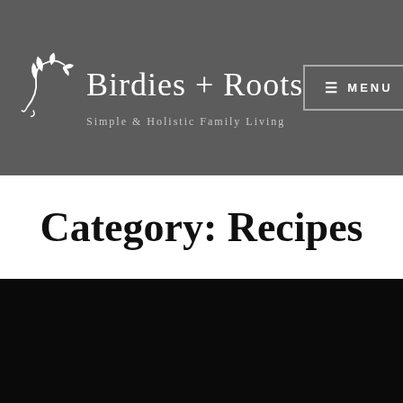Birdies + Roots — Simple & Holistic Family Living — MENU
Category: Recipes
[Figure (photo): Dark/black image area below the category heading, representing a food or lifestyle photo with very low brightness]